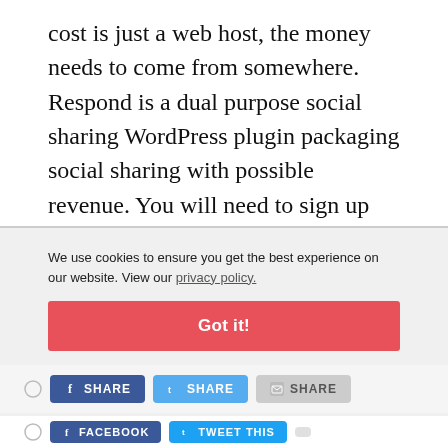cost is just a web host, the money needs to come from somewhere. Respond is a dual purpose social sharing WordPress plugin packaging social sharing with possible revenue. You will need to sign up for an account with them and let them check out your site before you can start earning though.
We use cookies to ensure you get the best experience on our website. View our privacy policy.
Got it!
[Figure (screenshot): Social sharing buttons row: radio button, Facebook SHARE button (blue), Twitter SHARE button (light blue), Email/envelope SHARE button (grey)]
[Figure (screenshot): Second row of social sharing buttons: radio button, Facebook FACEBOOK button (blue), Twitter TWEET THIS button (blue), and partial third button]